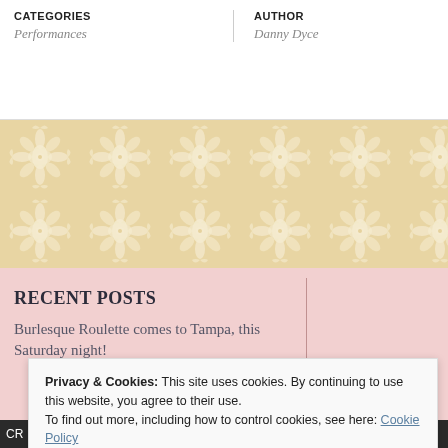| CATEGORIES | AUTHOR |
| --- | --- |
| Performances | Danny Dyce |
[Figure (illustration): Decorative damask floral pattern in beige/tan and white, repeating ornamental motif]
RECENT POSTS
Burlesque Roulette comes to Tampa, this Saturday night!
Privacy & Cookies: This site uses cookies. By continuing to use this website, you agree to their use.
To find out more, including how to control cookies, see here: Cookie Policy
Close and accept
CR